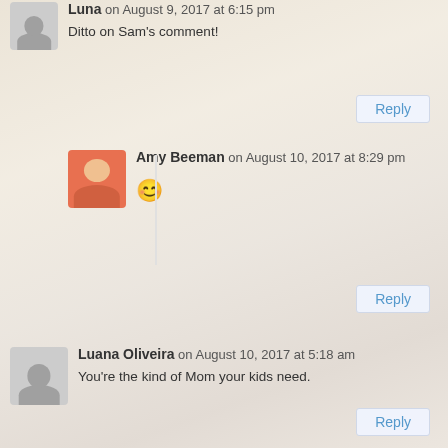Luna on August 9, 2017 at 6:15 pm
Ditto on Sam's comment!
Reply
Amy Beeman on August 10, 2017 at 8:29 pm
😊
Reply
Luana Oliveira on August 10, 2017 at 5:18 am
You're the kind of Mom your kids need.
Reply